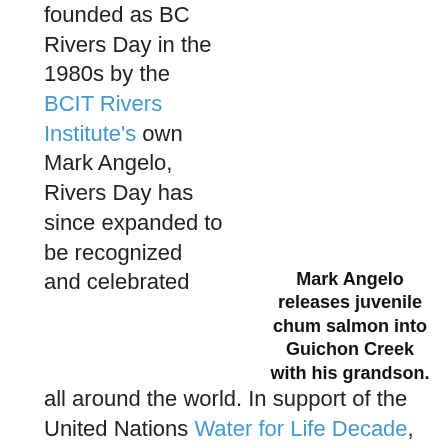founded as BC Rivers Day in the 1980s by the BCIT Rivers Institute's own Mark Angelo, Rivers Day has since expanded to be recognized and celebrated all around the world. In support of the United Nations Water for Life Decade, World Rivers Day was established to create awareness surrounding water resources and the need to protect them. Since then, the world has been celebrating our waterways
Mark Angelo releases juvenile chum salmon into Guichon Creek with his grandson.